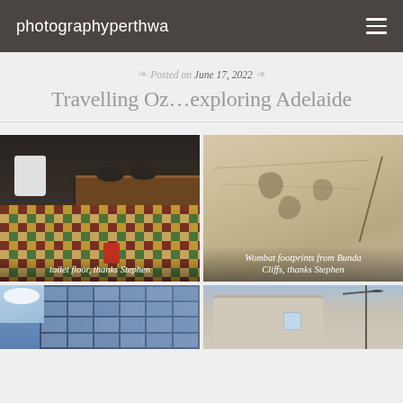photographyperthwa
Posted on June 17, 2022
Travelling Oz…exploring Adelaide
[Figure (photo): Interior bathroom photo showing decorative patterned tile floor with geometric yellow, green and red motifs, dark wooden vanity shelf with bowl sinks, white hand dryer on wall. Caption: toilet floor, thanks Stephen]
[Figure (photo): Aerial or close-up view of sandy/gravelly surface showing wombat footprints/tracks from Bunda Cliffs. Caption: Wombat footprints from Bunda Cliffs, thanks Stephen]
[Figure (photo): Tall glass and steel office building photographed from below against blue sky with clouds]
[Figure (photo): Street scene showing beige/cream coloured building with blue sky and utility poles]